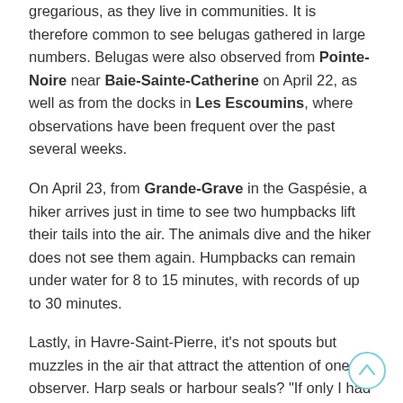gregarious, as they live in communities. It is therefore common to see belugas gathered in large numbers. Belugas were also observed from Pointe-Noire near Baie-Sainte-Catherine on April 22, as well as from the docks in Les Escoumins, where observations have been frequent over the past several weeks.
On April 23, from Grande-Grave in the Gaspésie, a hiker arrives just in time to see two humpbacks lift their tails into the air. The animals dive and the hiker does not see them again. Humpbacks can remain under water for 8 to 15 minutes, with records of up to 30 minutes.
Lastly, in Havre-Saint-Pierre, it's not spouts but muzzles in the air that attract the attention of one observer. Harp seals or harbour seals? "If only I had my binoculars!" she writes to us in real time from the marine terminal. It's not always easy to identify what you see, but it's always a pleasure to observe the life around us.
[Figure (other): A circular scroll-to-top button with an upward chevron arrow, outlined in light blue, located in the bottom-right corner of the page.]